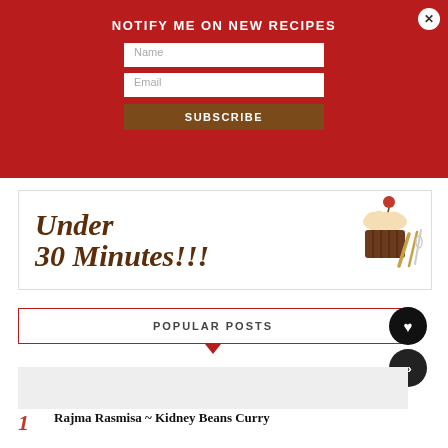NOTIFY ME ON NEW RECIPES
Name
Email
SUBSCRIBE
[Figure (illustration): Under 30 Minutes!!! banner with cupcake and kitchen tools illustration]
POPULAR POSTS
1  Rajma Rasmisa ~ Kidney Beans Curry